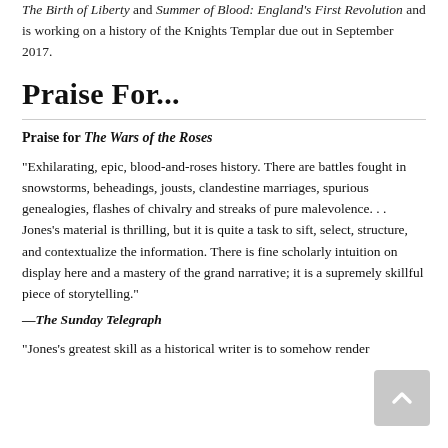The Birth of Liberty and Summer of Blood: England's First Revolution and is working on a history of the Knights Templar due out in September 2017.
Praise For...
Praise for The Wars of the Roses
“Exhilarating, epic, blood-and-roses history. There are battles fought in snowstorms, beheadings, jousts, clandestine marriages, spurious genealogies, flashes of chivalry and streaks of pure malevolence. . . Jones’s material is thrilling, but it is quite a task to sift, select, structure, and contextualize the information. There is fine scholarly intuition on display here and a mastery of the grand narrative; it is a supremely skillful piece of storytelling.”
—The Sunday Telegraph
“Jones’s greatest skill as a historical writer is to somehow render